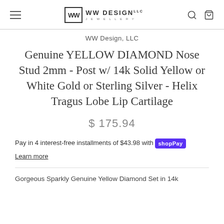WW DESIGN LLC
WW Design, LLC
Genuine YELLOW DIAMOND Nose Stud 2mm - Post w/ 14k Solid Yellow or White Gold or Sterling Silver - Helix Tragus Lobe Lip Cartilage
$ 175.94
Pay in 4 interest-free installments of $43.98 with Shop Pay
Learn more
Gorgeous Sparkly Genuine Yellow Diamond Set in 14k